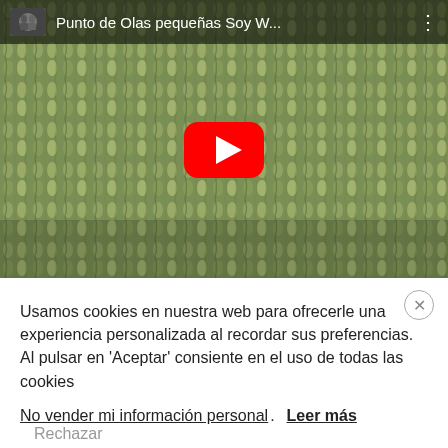[Figure (screenshot): YouTube video embed showing knitting/crochet texture (green yarn, wave stitch pattern) with video title bar 'Punto de Olas pequeñas Soy W...' and red YouTube play button in center]
Usamos cookies en nuestra web para ofrecerle una experiencia personalizada al recordar sus preferencias. Al pulsar en 'Aceptar' consiente en el uso de todas las cookies
No vender mi información personal. Leer más Rechazar
Aceptar   Configuración de cookies